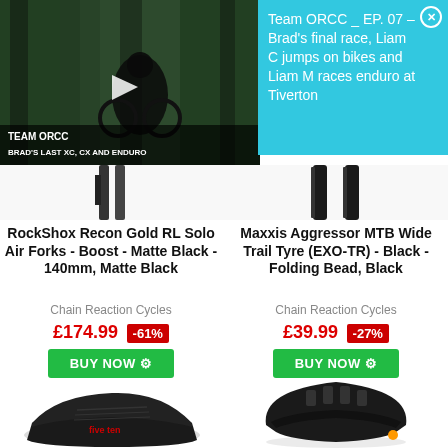[Figure (screenshot): Video thumbnail showing mountain biker in forest with play button overlay, labeled TEAM ORCC - BRAD'S LAST XC, CX AND ENDURO]
Team ORCC _ EP. 07 – Brad's final race, Liam C jumps on bikes and Liam M races enduro at Tiverton
[Figure (photo): Fork legs and bike tyres product images in strip]
RockShox Recon Gold RL Solo Air Forks - Boost - Matte Black - 140mm, Matte Black
Chain Reaction Cycles
£174.99 -61%
BUY NOW
Maxxis Aggressor MTB Wide Trail Tyre (EXO-TR) - Black - Folding Bead, Black
Chain Reaction Cycles
£39.99 -27%
BUY NOW
[Figure (photo): Black Five Ten flat pedal cycling shoe]
[Figure (photo): Black Bell mountain bike helmet]